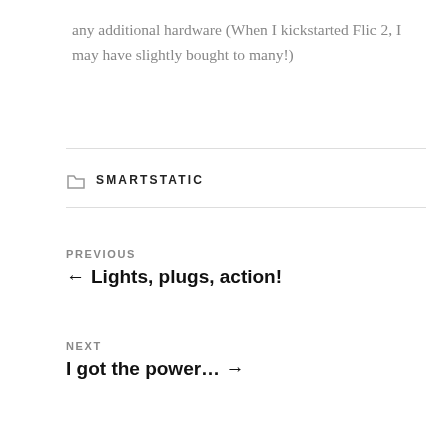any additional hardware (When I kickstarted Flic 2, I may have slightly bought to many!)
SMARTSTATIC
PREVIOUS
← Lights, plugs, action!
NEXT
I got the power... →